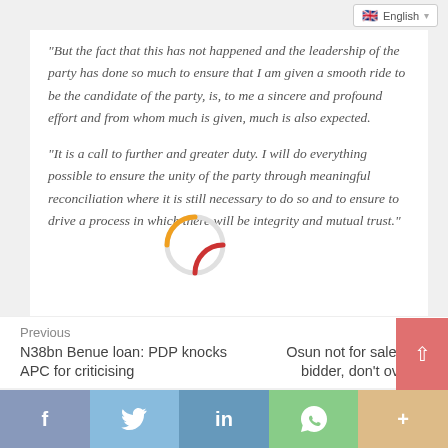English (language selector)
"But the fact that this has not happened and the leadership of the party has done so much to ensure that I am given a smooth ride to be the candidate of the party, is, to me a sincere and profound effort and from whom much is given, much is also expected.
“It is a call to further and greater duty. I will do everything possible to ensure the unity of the party through meaningful reconciliation where it is still necessary to do so and to ensure to drive a process in which there will be integrity and mutual trust."
[Figure (other): Loading spinner graphic with orange and red arc segments]
Previous
N38bn Benue loan: PDP knocks APC for criticising
Next
Osun not for sale to hi bidder, don't overhe